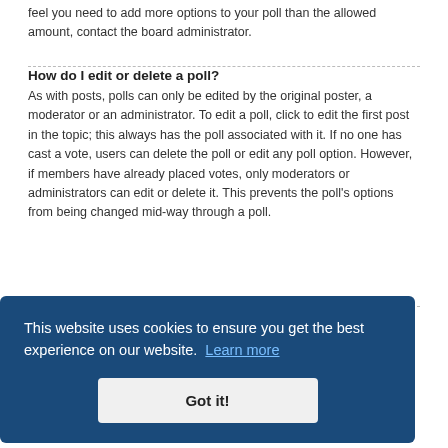feel you need to add more options to your poll than the allowed amount, contact the board administrator.
How do I edit or delete a poll?
As with posts, polls can only be edited by the original poster, a moderator or an administrator. To edit a poll, click to edit the first post in the topic; this always has the poll associated with it. If no one has cast a vote, users can delete the poll or edit any poll option. However, if members have already placed votes, only moderators or administrators can edit or delete it. This prevents the poll’s options from being changed mid-way through a poll.
[Figure (screenshot): Cookie consent banner overlay on dark blue background reading 'This website uses cookies to ensure you get the best experience on our website. Learn more' with a 'Got it!' button]
Why can’t I add attachments?